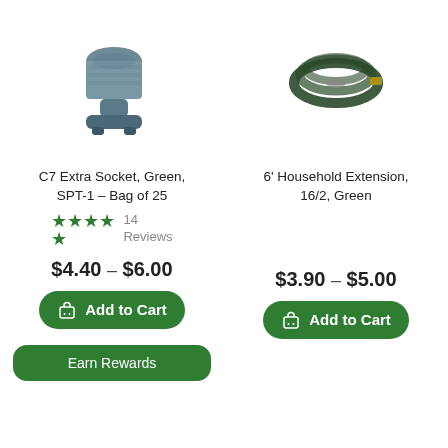[Figure (photo): C7 Extra Socket product photo - grey plastic lamp socket clip]
[Figure (photo): 6 foot household extension cord product photo - coiled green cable]
C7 Extra Socket, Green, SPT-1 - Bag of 25
6' Household Extension, 16/2, Green
14 Reviews (4.5 stars)
$4.40 - $6.00
$3.90 - $5.00
Add to Cart
Add to Cart
Earn Rewards